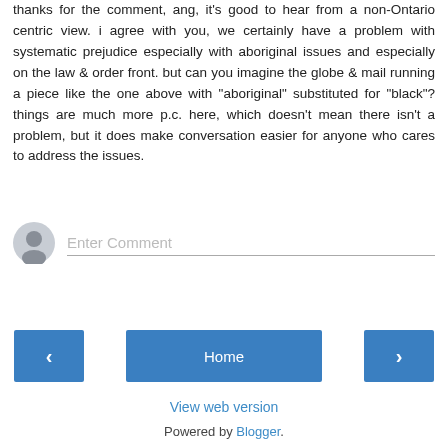thanks for the comment, ang, it's good to hear from a non-Ontario centric view. i agree with you, we certainly have a problem with systematic prejudice especially with aboriginal issues and especially on the law & order front. but can you imagine the globe & mail running a piece like the one above with "aboriginal" substituted for "black"? things are much more p.c. here, which doesn't mean there isn't a problem, but it does make conversation easier for anyone who cares to address the issues.
Reply
Enter Comment
Home
View web version
Powered by Blogger.